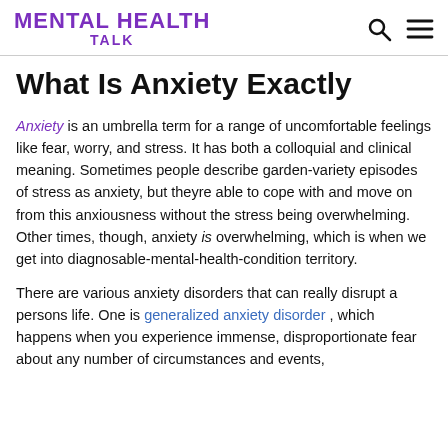MENTAL HEALTH TALK
What Is Anxiety Exactly
Anxiety is an umbrella term for a range of uncomfortable feelings like fear, worry, and stress. It has both a colloquial and clinical meaning. Sometimes people describe garden-variety episodes of stress as anxiety, but theyre able to cope with and move on from this anxiousness without the stress being overwhelming. Other times, though, anxiety is overwhelming, which is when we get into diagnosable-mental-health-condition territory.
There are various anxiety disorders that can really disrupt a persons life. One is generalized anxiety disorder, which happens when you experience immense, disproportionate fear about any number of circumstances and events,